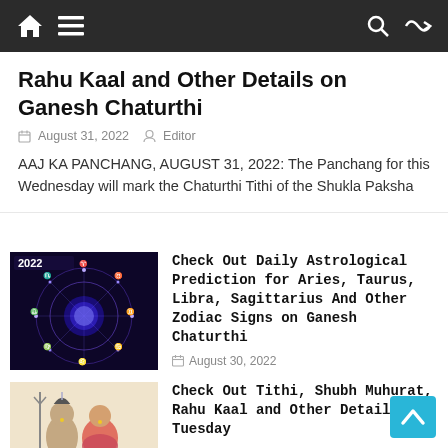Navigation bar with home, menu, search, and shuffle icons
Rahu Kaal and Other Details on Ganesh Chaturthi
August 31, 2022   Editor
AAJ KA PANCHANG, AUGUST 31, 2022: The Panchang for this Wednesday will mark the Chaturthi Tithi of the Shukla Paksha
[Figure (illustration): Zodiac astrology wheel with glowing blue/purple constellation signs and '2022' calendar text on dark background]
Check Out Daily Astrological Prediction for Aries, Taurus, Libra, Sagittarius And Other Zodiac Signs on Ganesh Chaturthi
August 30, 2022
[Figure (illustration): Illustration of Lord Shiva and Parvati, Hindu deities, with Shiva holding a trident]
Check Out Tithi, Shubh Muhurat, Rahu Kaal and Other Details for Tuesday
August 29, 2022